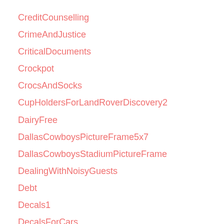CreditCounselling
CrimeAndJustice
CriticalDocuments
Crockpot
CrocsAndSocks
CupHoldersForLandRoverDiscovery2
DairyFree
DallasCowboysPictureFrame5x7
DallasCowboysStadiumPictureFrame
DealingWithNoisyGuests
Debt
Decals1
DecalsForCars
deckle